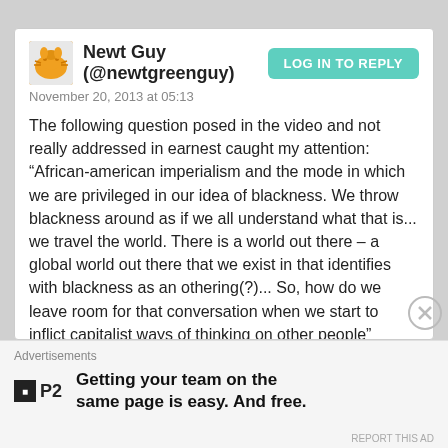Newt Guy (@newtgreenguy)
November 20, 2013 at 05:13
The following question posed in the video and not really addressed in earnest caught my attention: “African-american imperialism and the mode in which we are privileged in our idea of blackness. We throw blackness around as if we all understand what that is... we travel the world. There is a world out there – a global world out there that we exist in that identifies with blackness as an othering(?)... So, how do we leave room for that conversation when we start to inflict capitalist ways of thinking on other people”
Advertisements
Getting your team on the same page is easy. And free.